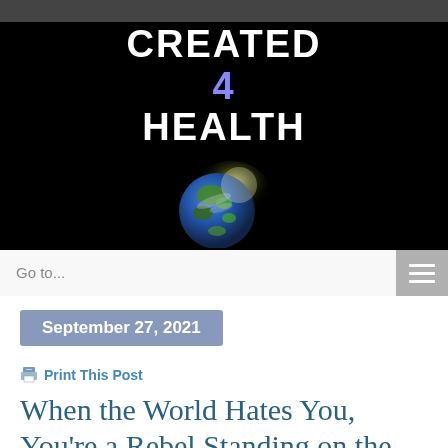[Figure (logo): Created 4 Health website banner logo with white bold text 'CREATED 4 HEALTH' on black background, with a globe/Earth image below the text with a glowing light effect.]
Go to...
September 27, 2021
Print This Post
When the World Hates You, You're a Rebel Standing on the Truth and